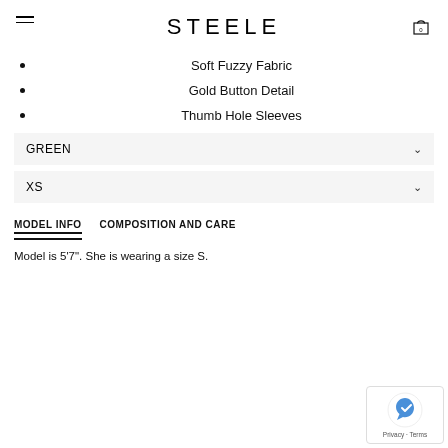STEELE
Soft Fuzzy Fabric
Gold Button Detail
Thumb Hole Sleeves
GREEN
XS
MODEL INFO   COMPOSITION AND CARE
Model is 5'7". She is wearing a size S.